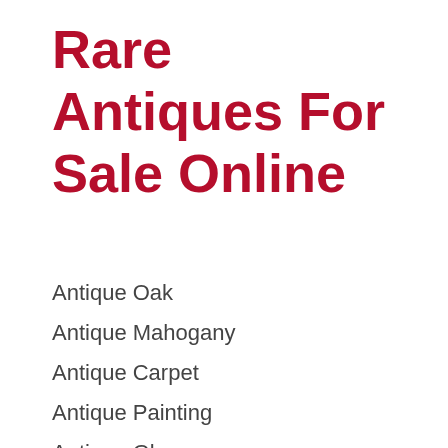Rare Antiques For Sale Online
Antique Oak
Antique Mahogany
Antique Carpet
Antique Painting
Antique Glass
Antique Plate
Raden Lacquer Vessel Reijo Honmachi Korea Honmach
Personnel Costs Are Also Included In This